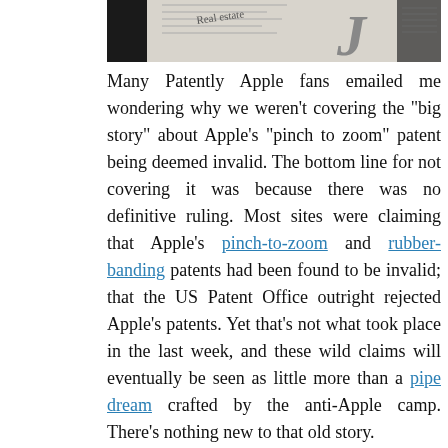[Figure (photo): Partial photo showing newspaper/document clippings with text fragments including 'Real estate' and a large stylized letter, partially obscured by a dark strip on the left.]
Many Patently Apple fans emailed me wondering why we weren't covering the "big story" about Apple's "pinch to zoom" patent being deemed invalid. The bottom line for not covering it was because there was no definitive ruling. Most sites were claiming that Apple's pinch-to-zoom and rubber-banding patents had been found to be invalid; that the US Patent Office outright rejected Apple's patents. Yet that's not what took place in the last week, and these wild claims will eventually be seen as little more than a pipe dream crafted by the anti-Apple camp. There's nothing new to that old story.